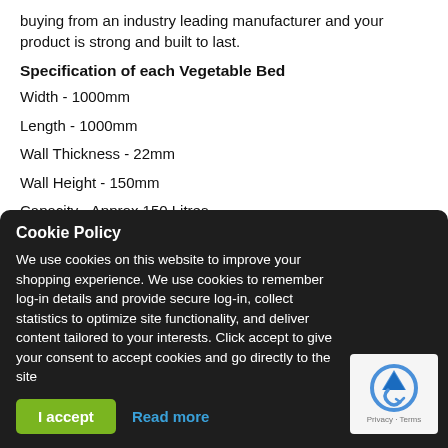buying from an industry leading manufacturer and your product is strong and built to last.
Specification of each Vegetable Bed
Width - 1000mm
Length - 1000mm
Wall Thickness - 22mm
Wall Height - 150mm
Capacity - Approx 150 Litres
Cookie Policy
We use cookies on this website to improve your shopping experience. We use cookies to remember log-in details and provide secure log-in, collect statistics to optimize site functionality, and deliver content tailored to your interests. Click accept to give your consent to accept cookies and go directly to the site
I accept  Read more